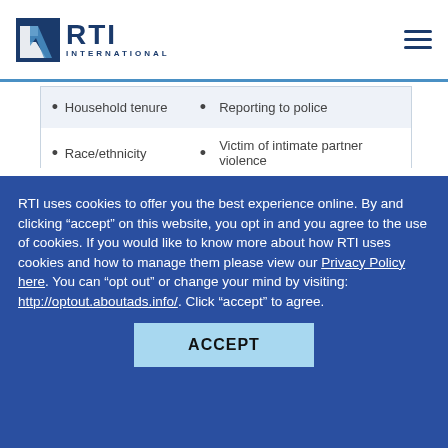RTI INTERNATIONAL
| • | Household tenure | • | Reporting to police |
| • | Race/ethnicity | • | Victim of intimate partner violence |
| • | Urbanicity | • | Victim of violent crime with a weapon |
|  |  | • | Victimizations with an injury |
RTI uses cookies to offer you the best experience online. By and clicking “accept” on this website, you opt in and you agree to the use of cookies. If you would like to know more about how RTI uses cookies and how to manage them please view our Privacy Policy here. You can “opt out” or change your mind by visiting: http://optout.aboutads.info/. Click “accept” to agree.
ACCEPT